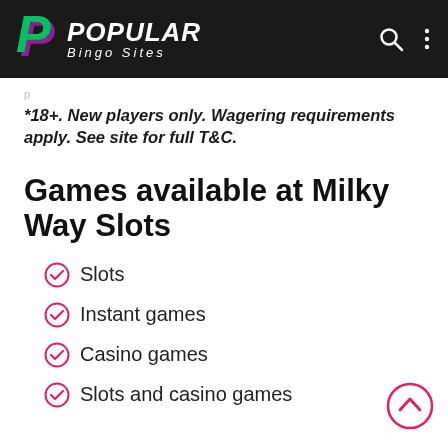POPULAR Bingo Sites
*18+. New players only. Wagering requirements apply. See site for full T&C.
Games available at Milky Way Slots
Slots
Instant games
Casino games
Slots and casino games